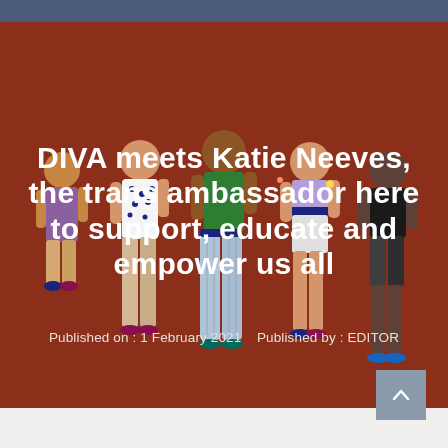[Figure (illustration): Illustration of five diverse women standing together on a dark red background, wearing colorful outfits including polka-dot top, green top, striped pants, and athletic wear]
DIVA meets Katie Neeves, the trans ambassador here to support, educate and empower us all
Published on : 1 February 2021    Published by : EDITOR